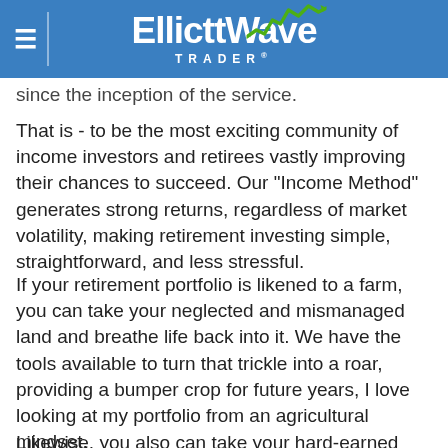Elliott Wave Trader
since the inception of the service.
That is - to be the most exciting community of income investors and retirees vastly improving their chances to succeed. Our "Income Method" generates strong returns, regardless of market volatility, making retirement investing simple, straightforward, and less stressful.
If your retirement portfolio is likened to a farm, you can take your neglected and mismanaged land and breathe life back into it. We have the tools available to turn that trickle into a roar, providing a bumper crop for future years, I love looking at my portfolio from an agricultural mindset.
Likewise, you also can take your hard-earned capital, and instead of planning to slowly liquidate all your hard work, you can set in motion a plan to see that capital working hard to